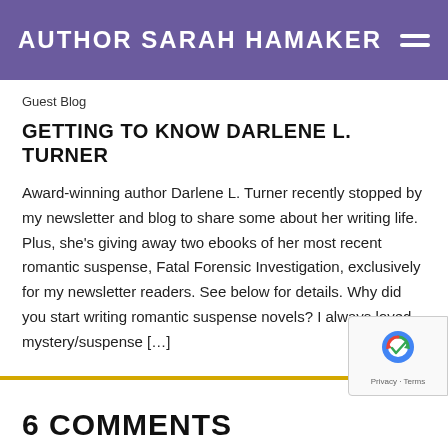AUTHOR SARAH HAMAKER
Guest Blog
GETTING TO KNOW DARLENE L. TURNER
Award-winning author Darlene L. Turner recently stopped by my newsletter and blog to share some about her writing life. Plus, she's giving away two ebooks of her most recent romantic suspense, Fatal Forensic Investigation, exclusively for my newsletter readers. See below for details. Why did you start writing romantic suspense novels? I always loved mystery/suspense [...]
6 COMMENTS